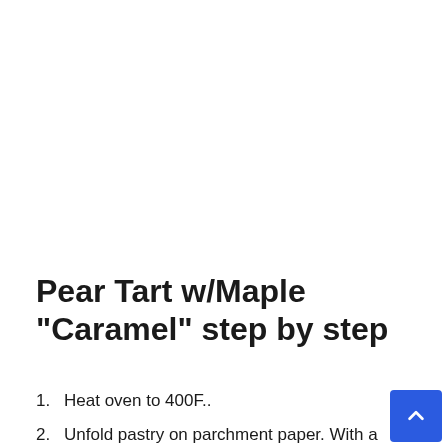Pear Tart w/Maple “Caramel” step by step
Heat oven to 400F..
Unfold pastry on parchment paper. With a rolling pin, roll the pastry 1/2 inch bigger on all sides..